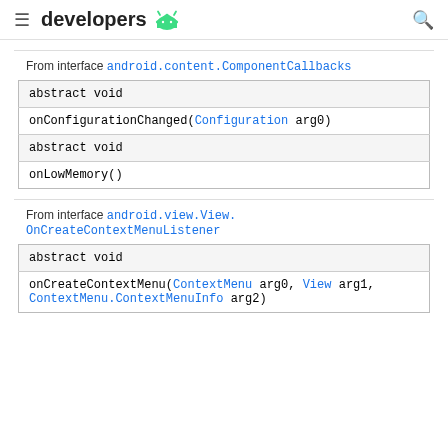developers (android logo)
From interface android.content.ComponentCallbacks
| abstract void |
| onConfigurationChanged(Configuration arg0) |
| abstract void |
| onLowMemory() |
From interface android.view.View.OnCreateContextMenuListener
| abstract void |
| onCreateContextMenu(ContextMenu arg0, View arg1, ContextMenu.ContextMenuInfo arg2) |